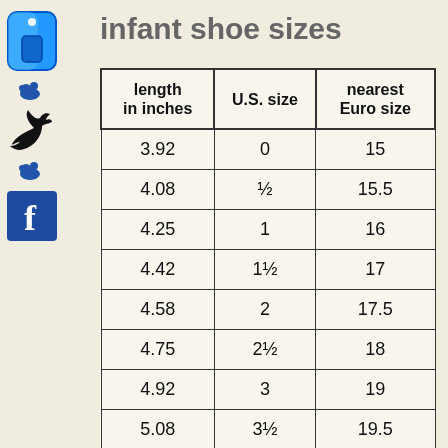infant shoe sizes
| length
in inches | U.S. size | nearest
Euro size |
| --- | --- | --- |
| 3.92 | 0 | 15 |
| 4.08 | ½ | 15.5 |
| 4.25 | 1 | 16 |
| 4.42 | 1½ | 17 |
| 4.58 | 2 | 17.5 |
| 4.75 | 2½ | 18 |
| 4.92 | 3 | 19 |
| 5.08 | 3½ | 19.5 |
| 5.25 | 4 | 20 |